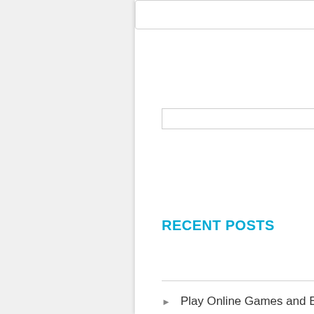[Figure (screenshot): Search input box with a Search button]
RECENT POSTS
Play Online Games and Earn From It
Enjoy Online Games With Your Friends
Why Are Good Online Games the First Preference of All?
Online Games Like Kissing Games Are A Lot of Fun for Girls
Blackjack Card Games